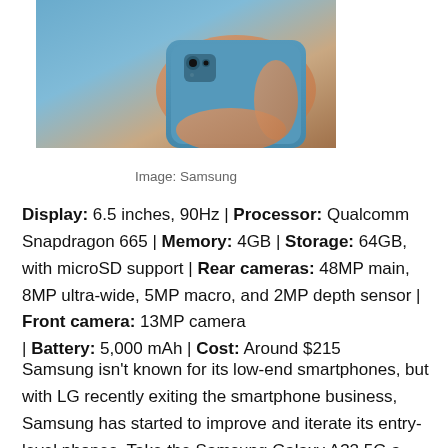[Figure (photo): A hand holding a blue Samsung smartphone, showing the back of the device with a camera module visible.]
Image: Samsung
Display: 6.5 inches, 90Hz | Processor: Qualcomm Snapdragon 665 | Memory: 4GB | Storage: 64GB, with microSD support | Rear cameras: 48MP main, 8MP ultra-wide, 5MP macro, and 2MP depth sensor | Front camera: 13MP camera | Battery: 5,000 mAh | Cost: Around $215
Samsung isn't known for its low-end smartphones, but with LG recently exiting the smartphone business, Samsung has started to improve and iterate its entry-level phones. Take the Samsung Galaxy A32 5G a $279 phone that looks and works